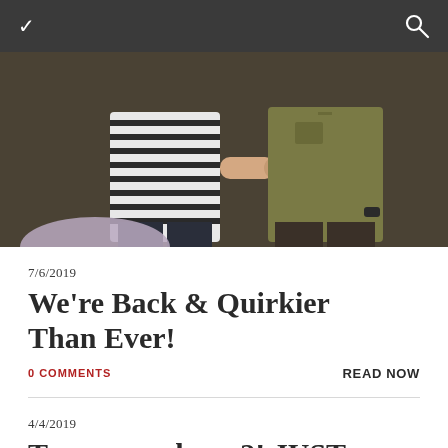navigation bar with chevron and search icon
[Figure (photo): Two people standing against a dark background. Left person wears a black and white striped long-sleeve shirt and dark jeans, right person wears an olive/khaki short-sleeve button shirt and dark pants with a watch.]
7/6/2019
We're Back & Quirkier Than Ever!
0 COMMENTS
READ NOW
4/4/2019
Two more shows?! JUST